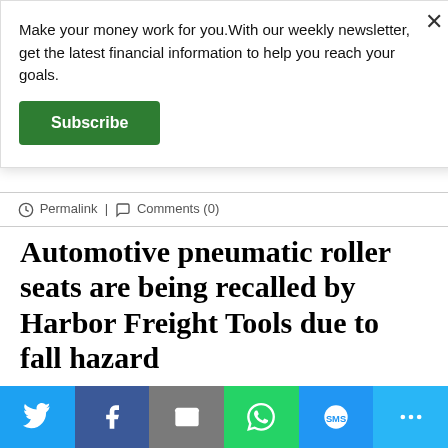Make your money work for you.With our weekly newsletter, get the latest financial information to help you reach your goals.
Subscribe
Permalink | Comments (0)
Automotive pneumatic roller seats are being recalled by Harbor Freight Tools due to fall hazard
February 13, 2022
[Figure (infographic): Social share bar with Twitter, Facebook, Email, WhatsApp, SMS, and More buttons]